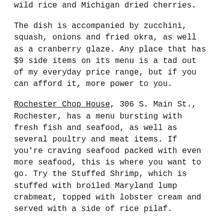wild rice and Michigan dried cherries.
The dish is accompanied by zucchini, squash, onions and fried okra, as well as a cranberry glaze. Any place that has $9 side items on its menu is a tad out of my everyday price range, but if you can afford it, more power to you.
Rochester Chop House, 306 S. Main St., Rochester, has a menu bursting with fresh fish and seafood, as well as several poultry and meat items. If you're craving seafood packed with even more seafood, this is where you want to go. Try the Stuffed Shrimp, which is stuffed with broiled Maryland lump crabmeat, topped with lobster cream and served with a side of rice pilaf.
This spectacular entrée gives you the best of both worlds if you're being indecisive with your dinner choice. Shrimp and crab in one!